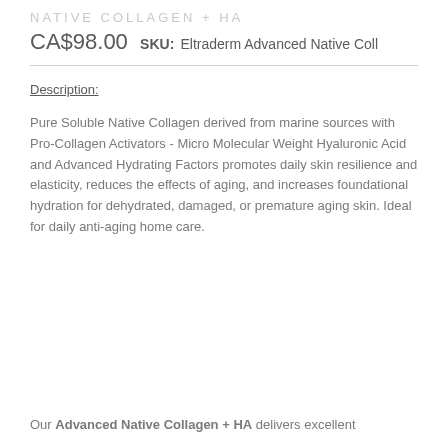NATIVE COLLAGEN + HA
CA$98.00  SKU: Eltraderm Advanced Native Coll
Description:
Pure Soluble Native Collagen derived from marine sources with Pro-Collagen Activators - Micro Molecular Weight Hyaluronic Acid and Advanced Hydrating Factors promotes daily skin resilience and elasticity, reduces the effects of aging, and increases foundational hydration for dehydrated, damaged, or premature aging skin. Ideal for daily anti-aging home care.
Our Advanced Native Collagen + HA delivers excellent